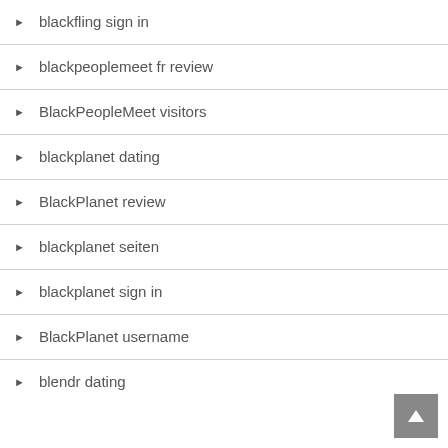blackfling sign in
blackpeoplemeet fr review
BlackPeopleMeet visitors
blackplanet dating
BlackPlanet review
blackplanet seiten
blackplanet sign in
BlackPlanet username
blendr dating